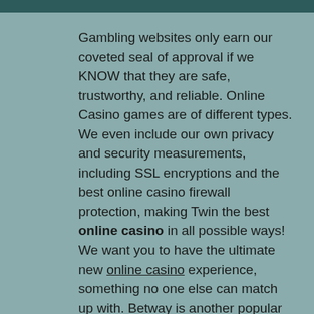[Figure (photo): Partial image strip at the top of the page, appears to be a cropped photograph]
Gambling websites only earn our coveted seal of approval if we KNOW that they are safe, trustworthy, and reliable. Online Casino games are of different types. We even include our own privacy and security measurements, including SSL encryptions and the best online casino firewall protection, making Twin the best online casino in all possible ways! We want you to have the ultimate new online casino experience, something no one else can match up with. Betway is another popular casino website that offers a wide range of online casino and table games to its users. The portfolio of mobile compatible games developed by leading providers has been slowly but surely expanding. Casino gambling has evolved significantly over